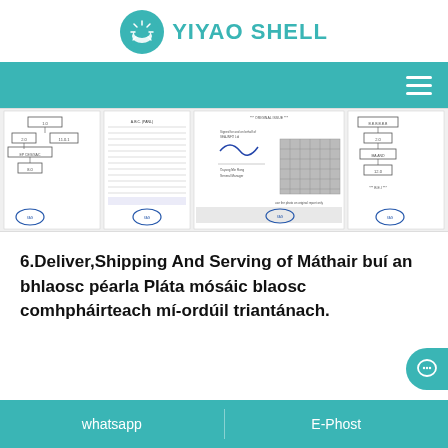YIYAO SHELL
[Figure (screenshot): Navigation bar with teal background and hamburger menu icon on the right]
[Figure (screenshot): Document strip showing multiple official/shipping documents side by side including flowcharts, tables, a signature page, and shell mosaic tile photo]
6.Deliver,Shipping And Serving of Máthair buí an bhlaosc péarla Pláta mósáic blaosc comhpháirteach mí-ordúil triantánach.
whatsapp   E-Phost